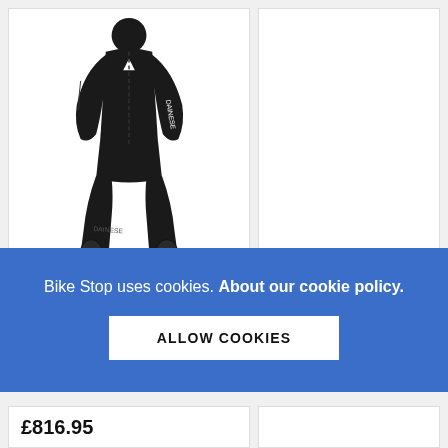[Figure (photo): A black Dainese one-piece motorcycle leather racing suit displayed on a mannequin or model, shown against a white background. The suit is entirely black with subtle paneling details and a Dainese logo on the chest.]
Bike Stop uses cookies. About our cookie policy.
ALLOW COOKIES
£816.95